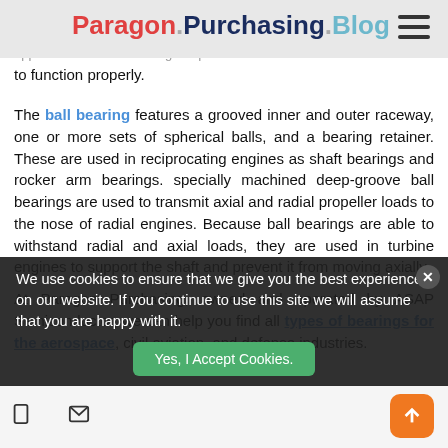Paragon Purchasing Blog
applications certain bearings require oil lubrication to function properly.
The ball bearing features a grooved inner and outer raceway, one or more sets of spherical balls, and a bearing retainer. These are used in reciprocating engines as shaft bearings and rocker arm bearings. specially machined deep-groove ball bearings are used to transmit axial and radial propeller loads to the nose of radial engines. Because ball bearings are able to withstand radial and axial loads, they are used in turbine engines to support the shaft and prevent it from moving axially.
At Paragon Purchasing, owned and operated by ASAP Semiconductor, we can help you find all types of bearings for the aerospace, civil aviation, and defense industries.
We use cookies to ensure that we give you the best experience on our website. If you continue to use this site we will assume that you are happy with it.